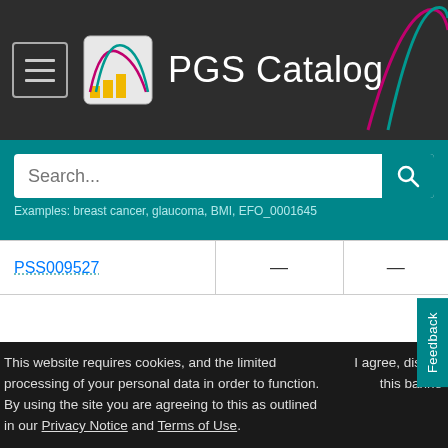PGS Catalog
Search... Examples: breast cancer, glaucoma, BMI, EFO_0001645
| ID |  |  |
| --- | --- | --- |
| PSS009527 | — | — |
Showing 1 to 15 of 39 rows — 15 rows per page
‹ 1 2 3 ›
This website requires cookies, and the limited processing of your personal data in order to function. By using the site you are agreeing to this as outlined in our Privacy Notice and Terms of Use.